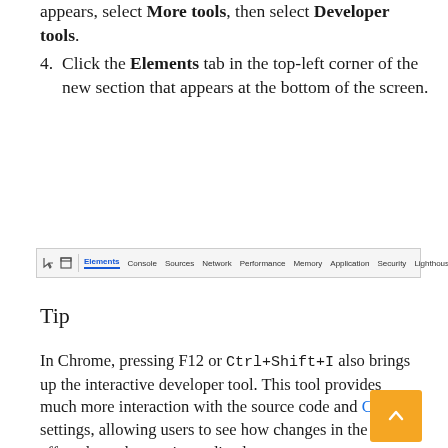appears, select More tools, then select Developer tools.
4. Click the Elements tab in the top-left corner of the new section that appears at the bottom of the screen.
[Figure (screenshot): Chrome DevTools tab bar screenshot showing Elements, Console, Sources, Network, Performance, Memory, Application, Security, Lighthouse tabs with Elements highlighted]
Tip
In Chrome, pressing F12 or Ctrl+Shift+I also brings up the interactive developer tool. This tool provides much more interaction with the source code and CSS settings, allowing users to see how changes in the code affect the web page immediately.